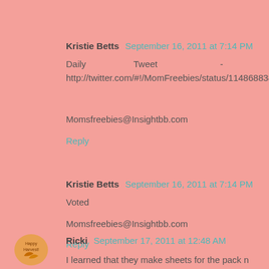Kristie Betts  September 16, 2011 at 7:14 PM
Daily Tweet - http://twitter.com/#!/MomFreebies/status/114868838637637633

Momsfreebies@Insightbb.com
Reply
Kristie Betts  September 16, 2011 at 7:14 PM
Voted

Momsfreebies@Insightbb.com
Reply
[Figure (illustration): Small orange leaf/harvest badge icon]
Ricki  September 17, 2011 at 12:48 AM
I learned that they make sheets for the pack n play!!